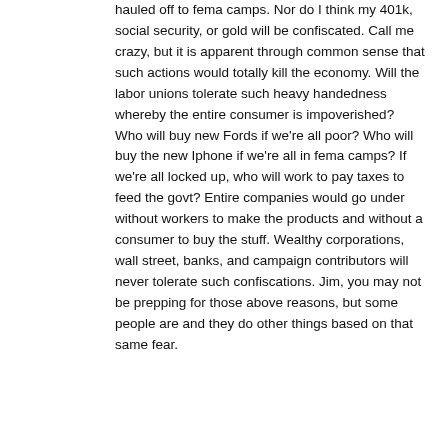hauled off to fema camps. Nor do I think my 401k, social security, or gold will be confiscated. Call me crazy, but it is apparent through common sense that such actions would totally kill the economy. Will the labor unions tolerate such heavy handedness whereby the entire consumer is impoverished? Who will buy new Fords if we're all poor? Who will buy the new Iphone if we're all in fema camps? If we're all locked up, who will work to pay taxes to feed the govt? Entire companies would go under without workers to make the products and without a consumer to buy the stuff. Wealthy corporations, wall street, banks, and campaign contributors will never tolerate such confiscations. Jim, you may not be prepping for those above reasons, but some people are and they do other things based on that same fear.